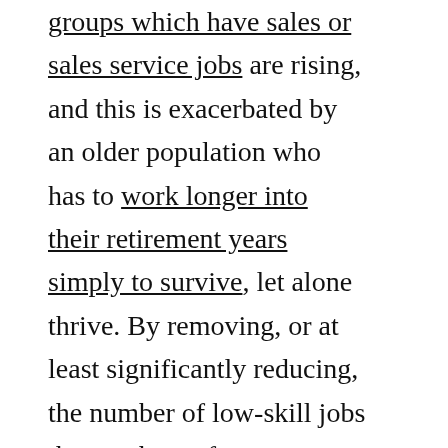groups which have sales or sales service jobs are rising, and this is exacerbated by an older population who has to work longer into their retirement years simply to survive, let alone thrive. By removing, or at least significantly reducing, the number of low-skill jobs the numbers of persons who are struggling and unable to find work will increase and their social hardships be exacerbated b